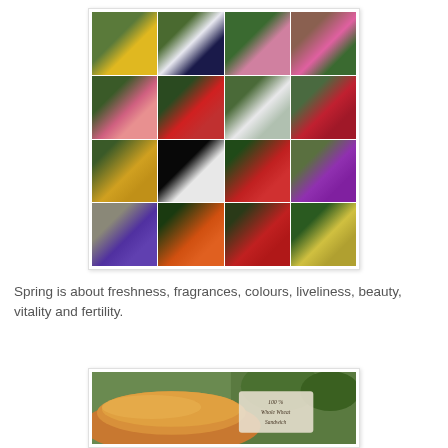[Figure (photo): A 4x4 grid collage of spring flower photographs showing various colored flowers including yellow marigolds, blue/white pansies, pink wildflowers, pink rose, pink carnations, red flowers, white flowers, red dahlias, yellow pansies, white flowers on black background, red geraniums, purple verbena, purple pansies, orange marigolds, red geraniums, and yellow flower with green leaves.]
Spring is about freshness, fragrances, colours, liveliness, beauty, vitality and fertility.
[Figure (photo): Photo of a loaf of bread (appears to be whole wheat) with a sign reading '100% Whole Wheat Sandwich' visible in the background among trees.]